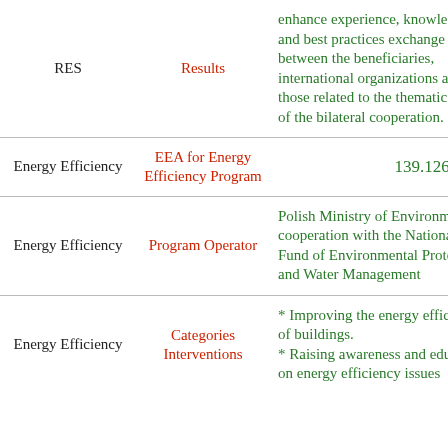| Area | Category | Details |
| --- | --- | --- |
| RES | Results | enhance experience, knowledge and best practices exchange between the beneficiaries, international organizations and those related to the thematic areas of the bilateral cooperation. |
| Energy Efficiency | EEA for Energy Efficiency Program | 139.126.728€ |
| Energy Efficiency | Program Operator | Polish Ministry of Environment in cooperation with the National Fund of Environmental Protection and Water Management |
| Energy Efficiency | Categories Interventions | * Improving the energy efficiency of buildings.
* Raising awareness and education on energy efficiency issues |